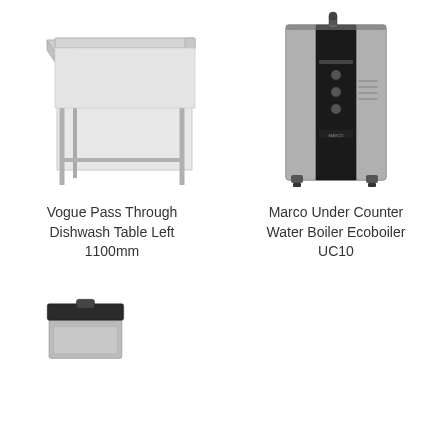[Figure (photo): Vogue Pass Through Dishwash Table Left 1100mm - stainless steel table with top surface and legs]
Vogue Pass Through Dishwash Table Left 1100mm
[Figure (photo): Marco Under Counter Water Boiler Ecoboiler UC10 - tall slim unit with black and silver finish]
Marco Under Counter Water Boiler Ecoboiler UC10
[Figure (photo): Partial view of another product at bottom left - partially visible]